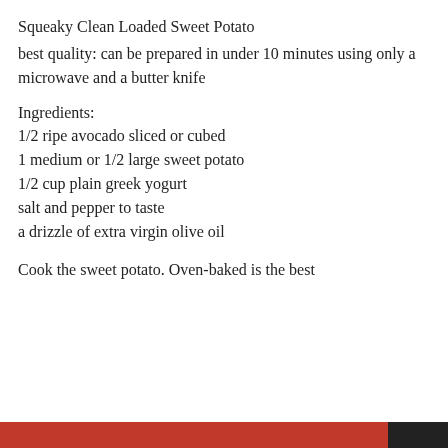Squeaky Clean Loaded Sweet Potato
best quality: can be prepared in under 10 minutes using only a microwave and a butter knife
Ingredients:
1/2 ripe avocado sliced or cubed
1 medium or 1/2 large sweet potato
1/2 cup plain greek yogurt
salt and pepper to taste
a drizzle of extra virgin olive oil
Cook the sweet potato. Oven-baked is the best
Privacy & Cookies: This site uses cookies. By continuing to use this website, you agree to their use.
To find out more, including how to control cookies, see here: Cookie Policy
Close and accept